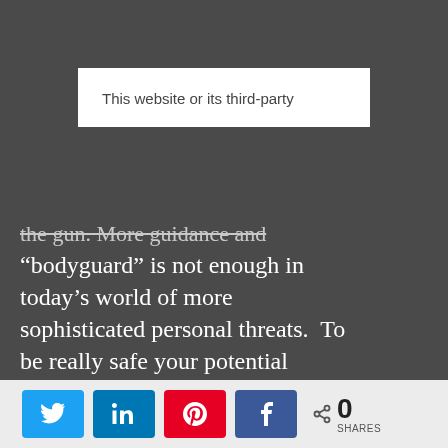This website or its third-party
"bodyguard" is not enough in today’s world of more sophisticated personal threats.  To be really safe your potential Principal needs ‘smart’ on their side.  They need competent, confident and discrete personal protection from an individual or firm that has been battle-tested and experience-
[Figure (infographic): Social sharing bar with Twitter, LinkedIn, Pinterest, and Facebook buttons, plus a share count showing 0 SHARES]